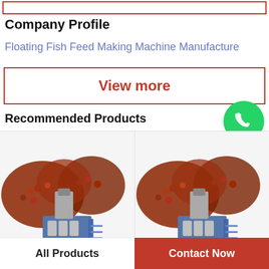Company Profile
Floating Fish Feed Making Machine Manufacture
View more
Recommended Products
[Figure (photo): WhatsApp Online icon - green circle with phone handset]
[Figure (photo): Fish feed pellets and fish feed making machine - left product]
[Figure (photo): Fish feed pellets and fish feed making machine - right product]
All Products
Contact Now